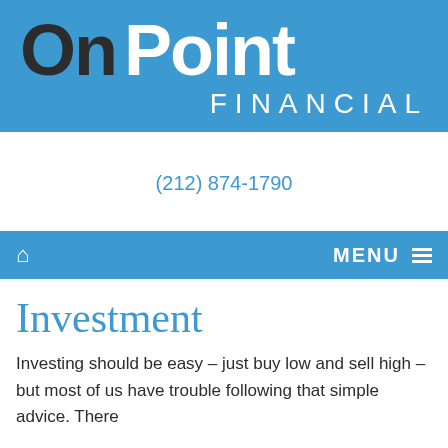[Figure (logo): On Point Financial logo on blue background. 'On' in dark charcoal, 'Point' in white, both large bold sans-serif. 'FINANCIAL' in white spaced capitals below.]
(212) 874-1790
Home  MENU
Investment
Investing should be easy – just buy low and sell high – but most of us have trouble following that simple advice. There